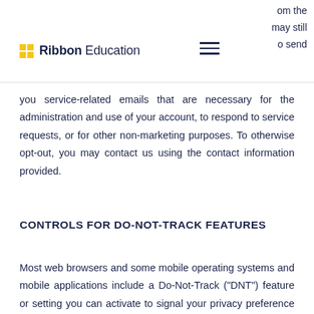Ribbon Education
om the may still o send you service-related emails that are necessary for the administration and use of your account, to respond to service requests, or for other non-marketing purposes. To otherwise opt-out, you may contact us using the contact information provided.
CONTROLS FOR DO-NOT-TRACK FEATURES
Most web browsers and some mobile operating systems and mobile applications include a Do-Not-Track ("DNT") feature or setting you can activate to signal your privacy preference not to have data about your online browsing activities monitored